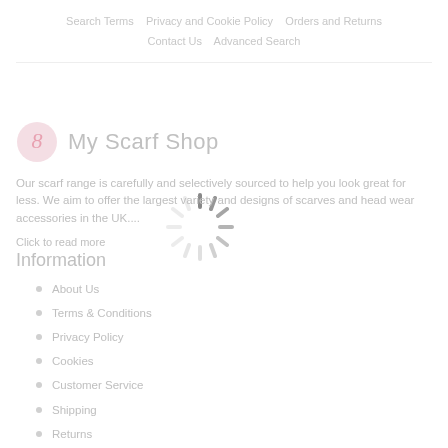Search Terms   Privacy and Cookie Policy   Orders and Returns   Contact Us   Advanced Search
[Figure (logo): My Scarf Shop logo: pink circular icon with stylized S and the text My Scarf Shop]
Our scarf range is carefully and selectively sourced to help you look great for less. We aim to offer the largest variety and designs of scarves and head wear accessories in the UK....
Click to read more
Information
About Us
Terms & Conditions
Privacy Policy
Cookies
Customer Service
Shipping
Returns